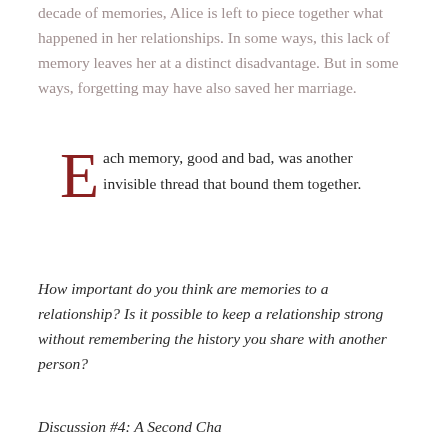decade of memories, Alice is left to piece together what happened in her relationships. In some ways, this lack of memory leaves her at a distinct disadvantage. But in some ways, forgetting may have also saved her marriage.
Each memory, good and bad, was another invisible thread that bound them together.
How important do you think are memories to a relationship? Is it possible to keep a relationship strong without remembering the history you share with another person?
Discussion #4: A Second Chance